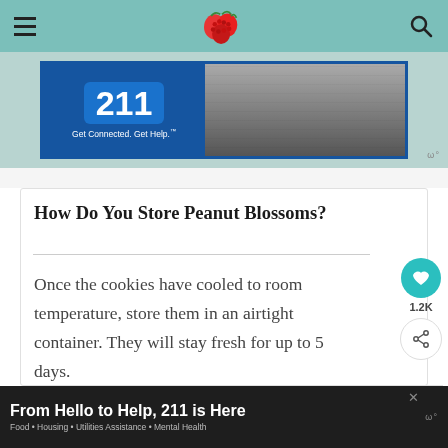[Figure (screenshot): Advertisement banner for 211 Get Connected. Get Help.]
How Do You Store Peanut Blossoms?
Once the cookies have cooled to room temperature, store them in an airtight container. They will stay fresh for up to 5 days.
[Figure (infographic): WHAT'S NEXT Cranberry Bliss Bars thumbnail]
From Hello to Help, 211 is Here. Food • Housing • Utilities Assistance • Mental Health